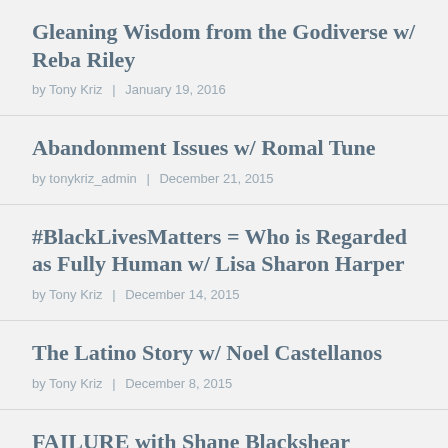Gleaning Wisdom from the Godiverse w/ Reba Riley
by Tony Kriz | January 19, 2016
Abandonment Issues w/ Romal Tune
by tonykriz_admin | December 21, 2015
#BlackLivesMatters = Who is Regarded as Fully Human w/ Lisa Sharon Harper
by Tony Kriz | December 14, 2015
The Latino Story w/ Noel Castellanos
by Tony Kriz | December 8, 2015
FAILURE with Shane Blackshear
by Tony Kriz | December 7, 2015
Vocation is About All of Us w/ Deborah Loyd